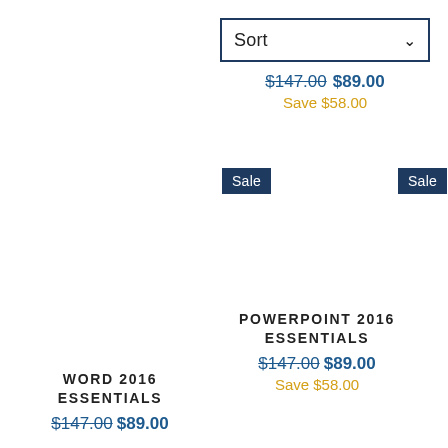[Figure (screenshot): Sort dropdown UI element with chevron arrow]
$147.00 $89.00 Save $58.00
Sale
Sale
POWERPOINT 2016 ESSENTIALS
$147.00 $89.00 Save $58.00
WORD 2016 ESSENTIALS
$147.00 $89.00